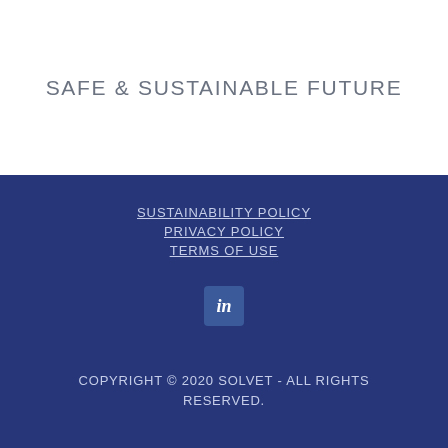SAFE & SUSTAINABLE FUTURE
SUSTAINABILITY POLICY
PRIVACY POLICY
TERMS OF USE
[Figure (logo): LinkedIn icon - blue square with white 'in' text]
COPYRIGHT © 2020 SOLVET - ALL RIGHTS RESERVED.